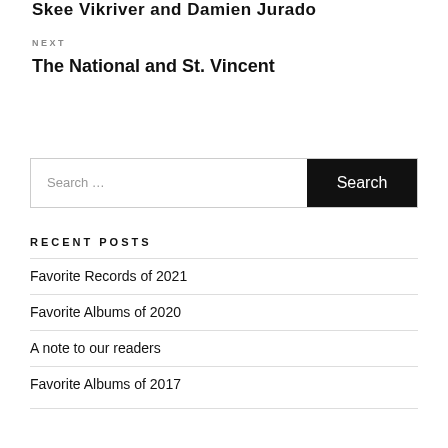Skee Vikriver and Damien Jurado
NEXT
The National and St. Vincent
Search …
RECENT POSTS
Favorite Records of 2021
Favorite Albums of 2020
A note to our readers
Favorite Albums of 2017